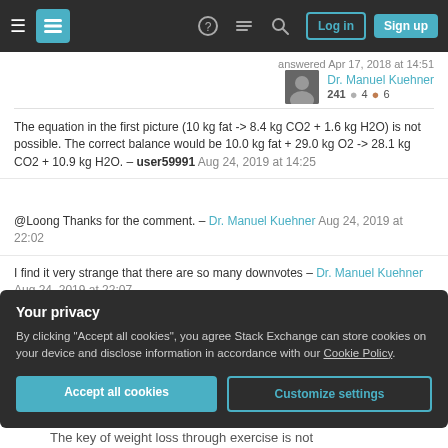Navigation bar with hamburger menu, Stack Exchange logo, help, chat, search icons, Log in and Sign up buttons
answered Apr 17, 2018 at 14:51
Dr. Manuel Kuehner  241  4  6
The equation in the first picture (10 kg fat -> 8.4 kg CO2 + 1.6 kg H2O) is not possible. The correct balance would be 10.0 kg fat + 29.0 kg O2 -> 28.1 kg CO2 + 10.9 kg H2O. – user59991 Aug 24, 2019 at 14:25
@Loong Thanks for the comment. – Dr. Manuel Kuehner Aug 24, 2019 at 22:02
I find it very strange that there are so many downvotes – Dr. Manuel Kuehner Aug 24, 2019 at 22:07
Your privacy
By clicking "Accept all cookies", you agree Stack Exchange can store cookies on your device and disclose information in accordance with our Cookie Policy.
Accept all cookies  Customize settings
The key of weight loss through exercise is not